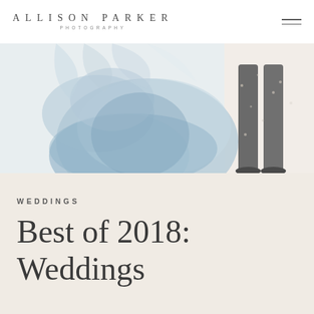ALLISON PARKER PHOTOGRAPHY
[Figure (photo): Cropped photograph of a bride in a blue tulle dress and a groom in a suit standing outdoors, showing only their lower bodies and the flowing dress fabric against a light background.]
WEDDINGS
Best of 2018: Weddings